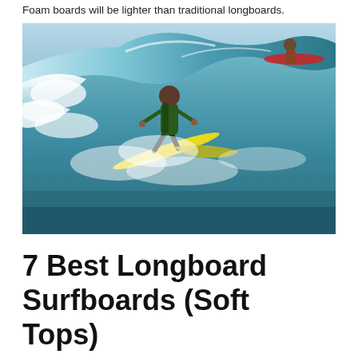Foam boards will be lighter than traditional longboards.
[Figure (photo): A surfer riding a large wave on a yellow longboard, wearing a dark green wetsuit. Another surfer visible in the top right corner on a red board. Ocean wave action with white water and teal sea.]
7 Best Longboard Surfboards (Soft Tops)
Interested in having some fun with a soft-top longboard? With all